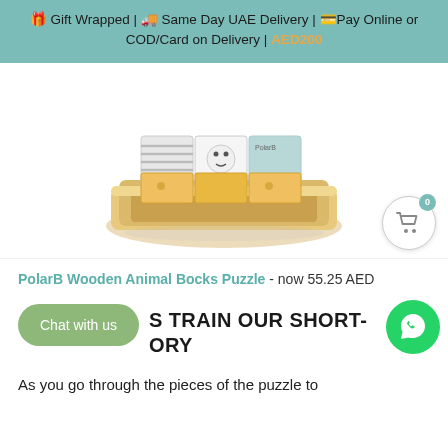🎁 Gift Wrapped | 🚚 Same Day UAE Delivery | 💳Pay Online or COD/Card on Delivery | AED200
[Figure (photo): PolarB wooden animal blocks puzzle in a wooden tray, showing colorful painted animal cube pieces arranged in the tray]
PolarB Wooden Animal Bocks Puzzle - now 55.25 AED
S TRAIN OUR SHORT-ORY
As you go through the pieces of the puzzle to